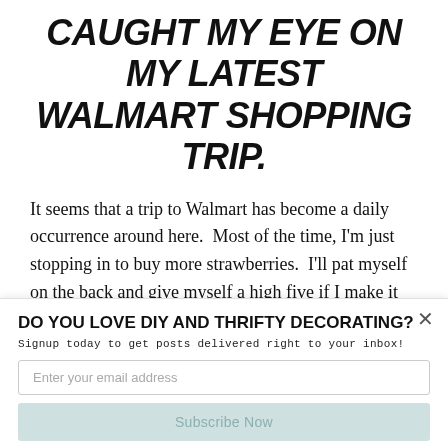CAUGHT MY EYE ON MY LATEST WALMART SHOPPING TRIP.
It seems that a trip to Walmart has become a daily occurrence around here.  Most of the time, I'm just stopping in to buy more strawberries.  I'll pat myself on the back and give myself a high five if I make it out of the store with only the strawberries.  Other times, I'm running in for [SUMO] old items and end up
DO YOU LOVE DIY AND THRIFTY DECORATING?
Signup today to get posts delivered right to your inbox!